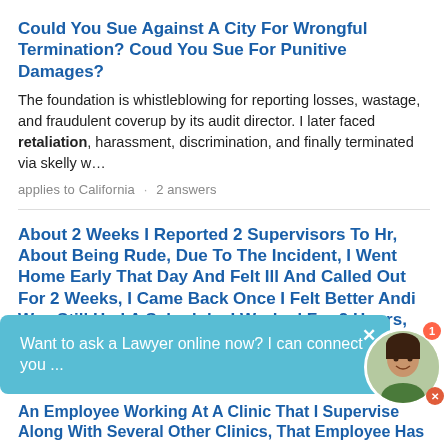Could You Sue Against A City For Wrongful Termination? Coud You Sue For Punitive Damages?
The foundation is whistleblowing for reporting losses, wastage, and fraudulent coverup by its audit director. I later faced retaliation, harassment, discrimination, and finally terminated via skelly w…
applies to California · 2 answers
About 2 Weeks I Reported 2 Supervisors To Hr, About Being Rude, Due To The Incident, I Went Home Early That Day And Felt Ill And Called Out For 2 Weeks, I Came Back Once I Felt Better Andi Was Still Had A Schedule. I Worked For 2 Hours, The Store Manager
could be be considered retaliation. applies to New York · 1 answer
Want to ask a Lawyer online now? I can connect you ...
An Employee Working At A Clinic That I Supervise Along With Several Other Clinics, That Employee Has